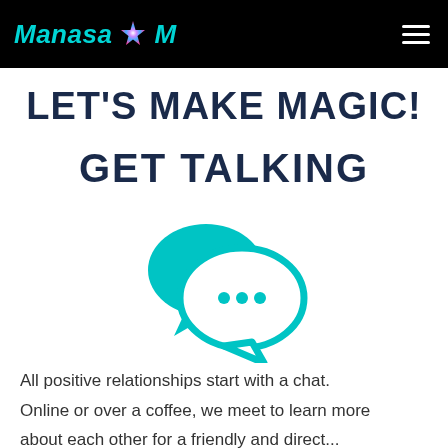Manasa M
LET'S MAKE MAGIC!
GET TALKING
[Figure (illustration): Two overlapping speech/chat bubbles in teal color. The back bubble is solid teal, the front bubble has a teal outline with three dots (ellipsis) inside, indicating a conversation or messaging concept.]
All positive relationships start with a chat. Online or over a coffee, we meet to learn more about each other for a friendly and direct...